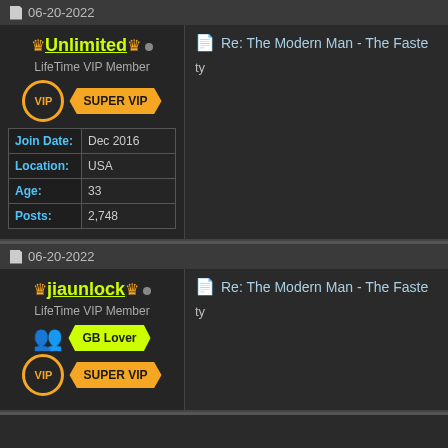06-20-2022
| Label | Value |
| --- | --- |
| Join Date: | Dec 2016 |
| Location: | USA |
| Age: | 33 |
| Posts: | 2,748 |
LifeTime VIP Member
Re: The Modern Man - The Faste
ty
06-20-2022
LifeTime VIP Member
Re: The Modern Man - The Faste
ty